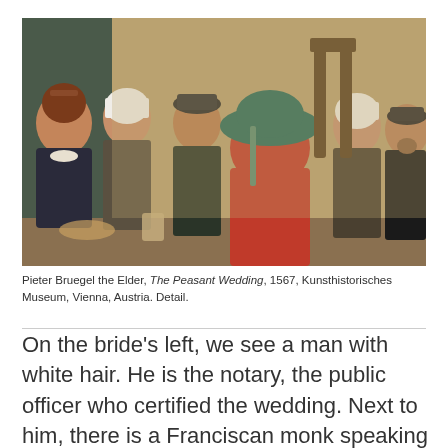[Figure (photo): Detail of Pieter Bruegel the Elder's The Peasant Wedding (1567). Shows a group of peasants seated at a table, including figures in red hats, a large green hat, white headcoverings, and dark clothing. The scene is crowded and lively.]
Pieter Bruegel the Elder, The Peasant Wedding, 1567, Kunsthistorisches Museum, Vienna, Austria. Detail.
On the bride's left, we see a man with white hair. He is the notary, the public officer who certified the wedding. Next to him, there is a Franciscan monk speaking with a well-dressed man, the landowner, on whose land all these peasants live and work. It seems very strange to us, that the groom is nowhere to be seen, but according to Flemish custom he was not allowed to take part in the